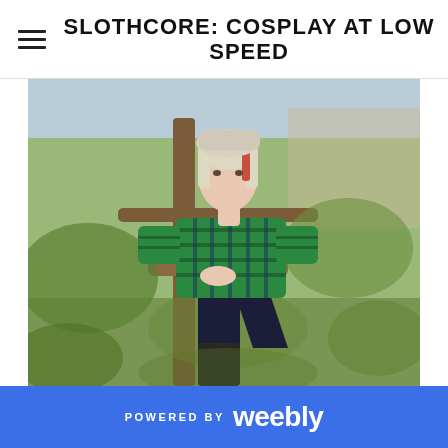SLOTHCORE: COSPLAY AT LOW SPEED
[Figure (photo): A young woman with reddish-blond hair wearing a green and navy plaid flannel shirt, dark skinny jeans, and tall black rubber boots. She is seated/leaning against a tree branch outdoors, with green foliage visible in the background.]
POWERED BY weebly